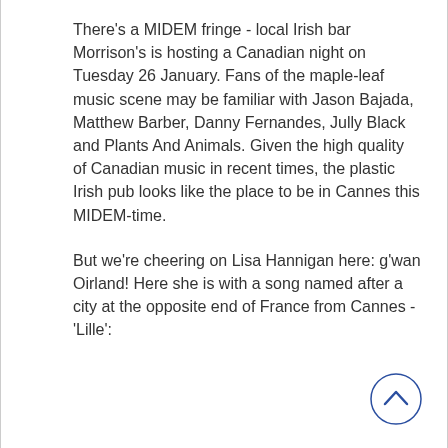There's a MIDEM fringe - local Irish bar Morrison's is hosting a Canadian night on Tuesday 26 January. Fans of the maple-leaf music scene may be familiar with Jason Bajada, Matthew Barber, Danny Fernandes, Jully Black and Plants And Animals. Given the high quality of Canadian music in recent times, the plastic Irish pub looks like the place to be in Cannes this MIDEM-time.
But we're cheering on Lisa Hannigan here: g'wan Oirland! Here she is with a song named after a city at the opposite end of France from Cannes - 'Lille':